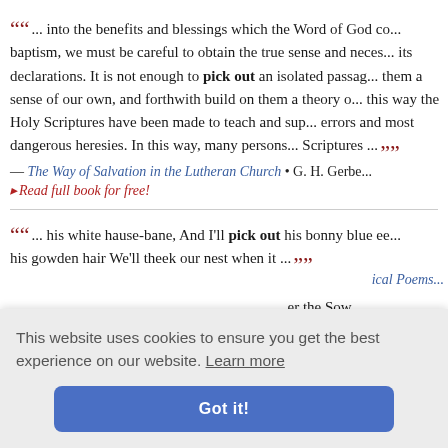““... into the benefits and blessings which the Word of God co... baptism, we must be careful to obtain the true sense and neces... its declarations. It is not enough to pick out an isolated passag... them a sense of our own, and forthwith build on them a theory o... this way the Holy Scriptures have been made to teach and sup... errors and most dangerous heresies. In this way, many persons... Scriptures ...””
— The Way of Salvation in the Lutheran Church • G. H. Gerbe...
▸ Read full book for free!
““... his white hause-bane, And I’ll pick out his bonny blue ee... his gowden hair We’ll theek our nest when it ...””
ical Poems...
... er the Sow... ...ut his Ston... pick out Corns; Maa, quoth the Devil, with that out he slunk, A...
This website uses cookies to ensure you get the best experience on our website. Learn more Got it!